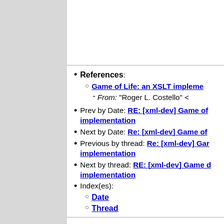References:
Game of Life: an XSLT impleme...
From: "Roger L. Costello" <
Prev by Date: RE: [xml-dev] Game of implementation
Next by Date: Re: [xml-dev] Game of
Previous by thread: Re: [xml-dev] Gar implementation
Next by thread: RE: [xml-dev] Game d implementation
Index(es):
Date
Thread